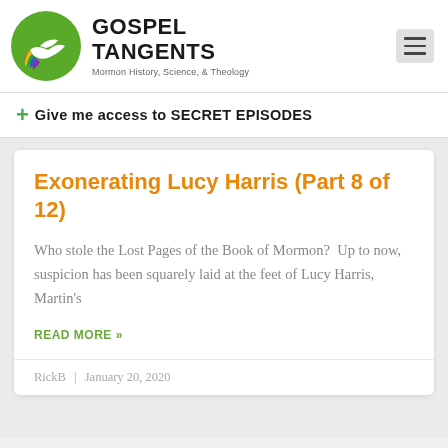Gospel Tangents — Mormon History, Science, & Theology
+ Give me access to SECRET EPISODES
Exonerating Lucy Harris (Part 8 of 12)
Who stole the Lost Pages of the Book of Mormon?  Up to now, suspicion has been squarely laid at the feet of Lucy Harris, Martin's
READ MORE »
RickB  |  January 20, 2020